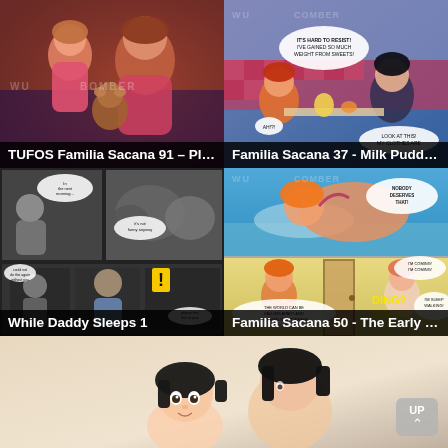[Figure (illustration): Animated illustration of two female characters with a teddy bear in a warm-toned interior scene]
TUFOS Familia Sacana 91 – Play...
[Figure (illustration): Comic panel showing female characters at a diner table with speech bubbles]
Familia Sacana 37 - Milk Pudding
[Figure (illustration): Dark manga-style comic panels showing scenes in grayscale with speech bubbles and an exclamation mark]
While Daddy Sleeps 1
[Figure (illustration): Colorful comic panels with female characters and speech bubbles including DING DONG text]
Familia Sacana 50 - The Early Bir...
[Figure (illustration): Anime-style illustration of two dark-haired characters on a light beige background]